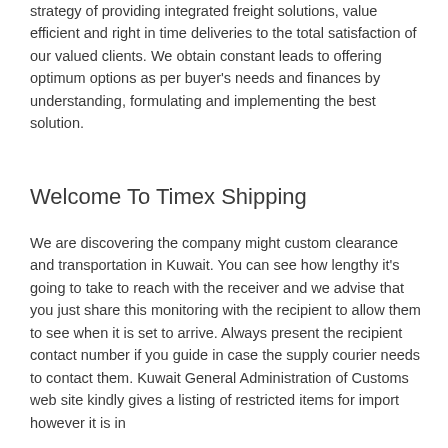strategy of providing integrated freight solutions, value efficient and right in time deliveries to the total satisfaction of our valued clients. We obtain constant leads to offering optimum options as per buyer's needs and finances by understanding, formulating and implementing the best solution.
Welcome To Timex Shipping
We are discovering the company might custom clearance and transportation in Kuwait. You can see how lengthy it's going to take to reach with the receiver and we advise that you just share this monitoring with the recipient to allow them to see when it is set to arrive. Always present the recipient contact number if you guide in case the supply courier needs to contact them. Kuwait General Administration of Customs web site kindly gives a listing of restricted items for import however it is in